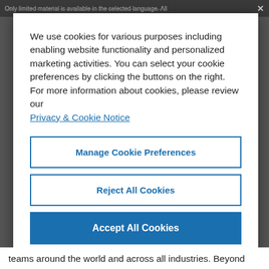Only limited material is available in the selected language. All
We use cookies for various purposes including enabling website functionality and personalized marketing activities. You can select your cookie preferences by clicking the buttons on the right. For more information about cookies, please review our Privacy & Cookie Notice
Manage Cookie Preferences
Reject All Cookies
Accept All Cookies
teams around the world and across all industries. Beyond